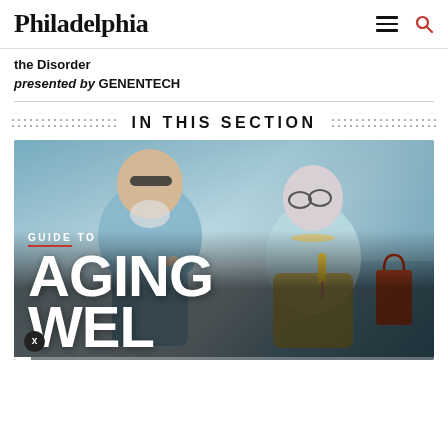Philadelphia
the Disorder
presented by GENENTECH
IN THIS SECTION
[Figure (photo): An older couple smiling and holding ice cream pops outdoors. Woman has short gray hair and glasses, man has white beard and sunglasses. Text overlay reads 'GUIDE TO AGING WELL'.]